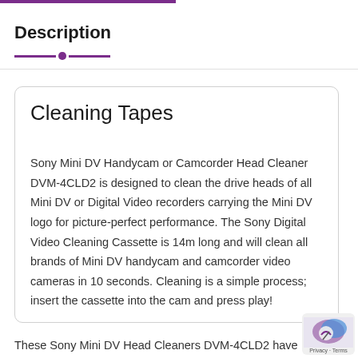Description
Cleaning Tapes
Sony Mini DV Handycam or Camcorder Head Cleaner DVM-4CLD2 is designed to clean the drive heads of all Mini DV or Digital Video recorders carrying the Mini DV logo for picture-perfect performance. The Sony Digital Video Cleaning Cassette is 14m long and will clean all brands of Mini DV handycam and camcorder video cameras in 10 seconds. Cleaning is a simple process; insert the cassette into the cam and press play!
These Sony Mini DV Head Cleaners DVM-4CLD2 have